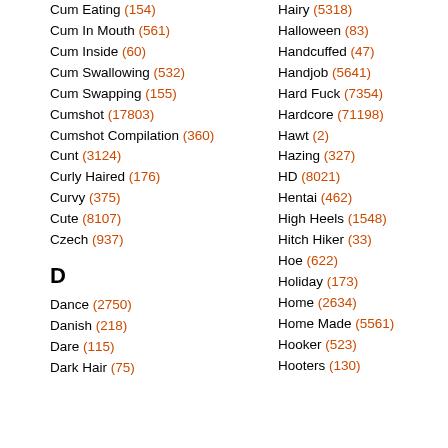Cum Eating (154)
Cum In Mouth (561)
Cum Inside (60)
Cum Swallowing (532)
Cum Swapping (155)
Cumshot (17803)
Cumshot Compilation (360)
Cunt (3124)
Curly Haired (176)
Curvy (375)
Cute (8107)
Czech (937)
D
Dance (2750)
Danish (218)
Dare (115)
Dark Hair (75)
Hairy (5318)
Halloween (83)
Handcuffed (47)
Handjob (5641)
Hard Fuck (7354)
Hardcore (71198)
Hawt (2)
Hazing (327)
HD (8021)
Hentai (462)
High Heels (1548)
Hitch Hiker (33)
Hoe (622)
Holiday (173)
Home (2634)
Home Made (5561)
Hooker (523)
Hooters (130)
Orgy (...)
Oriental (...)
Outdoor (...)
P
Pain (...)
Pakistani (...)
Pale (...)
Panties (...)
Pantyhose (...)
Park Sex (...)
Parody (...)
Party (...)
Passionate (...)
Peeing (...)
Pegging (...)
Penetration (...)
Penis (...)
Perfect (...)